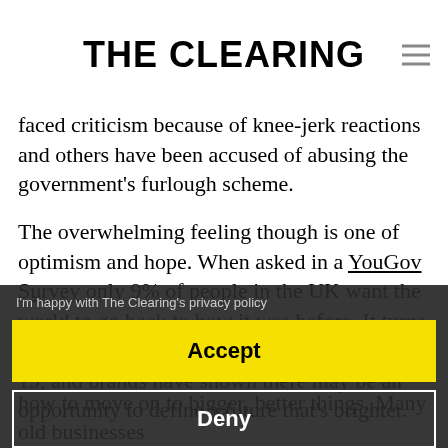THE CLEARING
faced criticism because of knee-jerk reactions and others have been accused of abusing the government's furlough scheme.
The overwhelming feeling though is one of optimism and hope. When asked in a YouGov Survey only 9% of people in the UK want the world to go back to how it was before. It turns out we weren't that happy with life pre-Covid-19, and brands have shown there may be an opportunity to define a future that's brighter.
I'm happy with The Clearing's privacy policy
Accept
Deny
As restrictions ease, brands need to consider how to move on to bigger, better things. Many old businesses